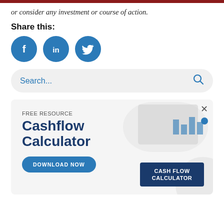or consider any investment or course of action.
Share this:
[Figure (infographic): Three social media share buttons: Facebook (f), LinkedIn (in), Twitter (bird icon), all in blue circles]
[Figure (screenshot): Search bar with placeholder text 'Search...' and a magnifying glass icon on the right, on a light gray rounded background]
[Figure (infographic): Promotional banner for a free Cashflow Calculator resource. Left side shows 'FREE RESOURCE' label, 'Cashflow Calculator' title in dark blue bold text, and a 'DOWNLOAD NOW' button in blue. Right side shows a photo of hands using a calculator with charts, and a dark blue card labeled 'CASH FLOW CALCULATOR'. Close (x) and dot navigation controls in top right corner.]